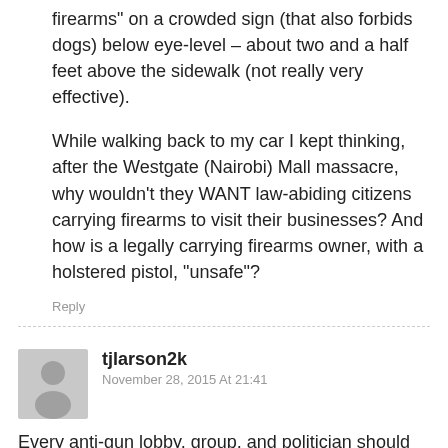firearms on a crowded sign (that also forbids dogs) below eye-level – about two and a half feet above the sidewalk (not really very effective).
While walking back to my car I kept thinking, after the Westgate (Nairobi) Mall massacre, why wouldn't they WANT law-abiding citizens carrying firearms to visit their businesses? And how is a legally carrying firearms owner, with a holstered pistol, "unsafe"?
Reply
tjlarson2k
November 28, 2015 At 21:41
Every anti-gun lobby, group, and politician should be liable for any injuries from crimes that occur in Gun-Free Zones. Put your money where your mouth "
is
[Figure (photo): Outdoor photo showing a landscape with trees and rocks, partially visible at bottom of page]